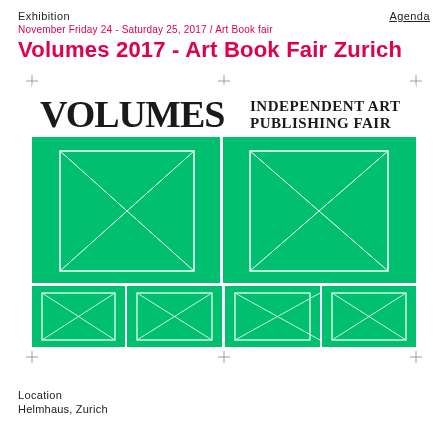Exhibition    Agenda
November Friday 24 - Saturday 25, 2017 / Art Book fair
Volumes 2017 - Art Book Fair Zurich
[Figure (illustration): Volumes 2017 Independent Art Publishing Fair promotional image. Green background with two large white-bordered rectangles (each containing an X-crossed square inside) side by side on top, and four smaller green rectangles with X-cross patterns on the bottom row. Text 'VOLUMES' in large black serif font top-left and 'INDEPENDENT ART PUBLISHING FAIR' in black serif font top-right. Corner crop marks visible.]
Location
Helmhaus, Zurich